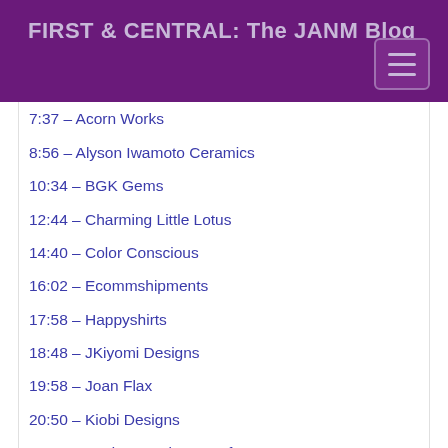FIRST & CENTRAL: The JANM Blog
7:37 – Acorn Works
8:56 – Alyson Iwamoto Ceramics
10:34 – BGK Gems
12:44 – Charming Little Lotus
14:40 – Color Conscious
16:02 – Ecommshipments
17:58 – Happyshirts
18:48 – JKiyomi Designs
19:58 – Joan Flax
20:50 – Kiobi Designs
21:50 – Madame Sakura Crafts
23:08 – Papermum Press
25:05 – Pomegranate Designs
26:20 – sewKimono
27:46 – Shibori Girl Studios